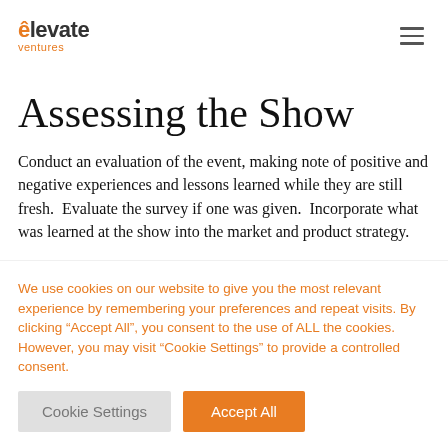elevate ventures
Assessing the Show
Conduct an evaluation of the event, making note of positive and negative experiences and lessons learned while they are still fresh.  Evaluate the survey if one was given.  Incorporate what was learned at the show into the market and product strategy.
We use cookies on our website to give you the most relevant experience by remembering your preferences and repeat visits. By clicking "Accept All", you consent to the use of ALL the cookies. However, you may visit "Cookie Settings" to provide a controlled consent.